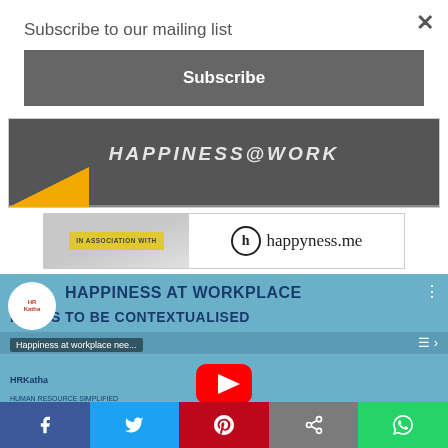Subscribe to our mailing list
Subscribe
[Figure (screenshot): Happiness at Work banner image with dark background and yellow triangle accent]
[Figure (logo): IN ASSOCIATION WITH happyness.me logo banner]
[Figure (screenshot): YouTube video thumbnail: HAPPINESS AT WORKPLACE NEEDS TO BE CONTEXTUALISED - HRKatha video with YouTube play button]
Share bar with Facebook, Twitter, Pinterest, Share, WhatsApp buttons